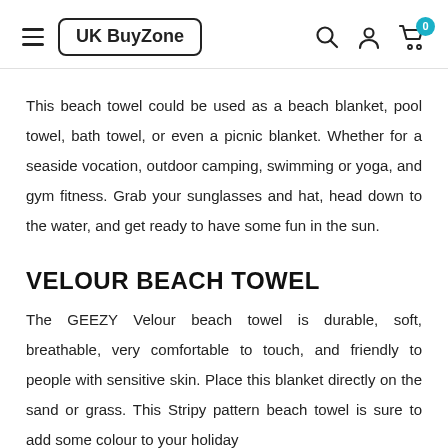UK BuyZone
This beach towel could be used as a beach blanket, pool towel, bath towel, or even a picnic blanket. Whether for a seaside vocation, outdoor camping, swimming or yoga, and gym fitness. Grab your sunglasses and hat, head down to the water, and get ready to have some fun in the sun.
VELOUR BEACH TOWEL
The GEEZY Velour beach towel is durable, soft, breathable, very comfortable to touch, and friendly to people with sensitive skin. Place this blanket directly on the sand or grass. This Stripy pattern beach towel is sure to add some colour to your holiday